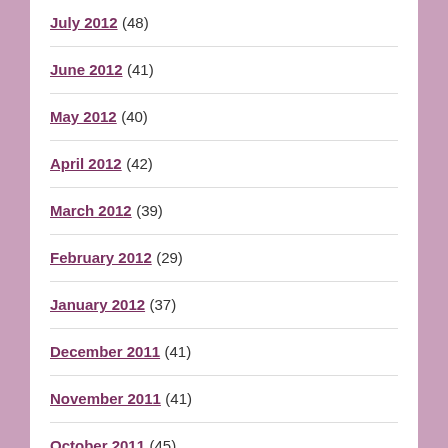July 2012 (48)
June 2012 (41)
May 2012 (40)
April 2012 (42)
March 2012 (39)
February 2012 (29)
January 2012 (37)
December 2011 (41)
November 2011 (41)
October 2011 (45)
September 2011 (30)